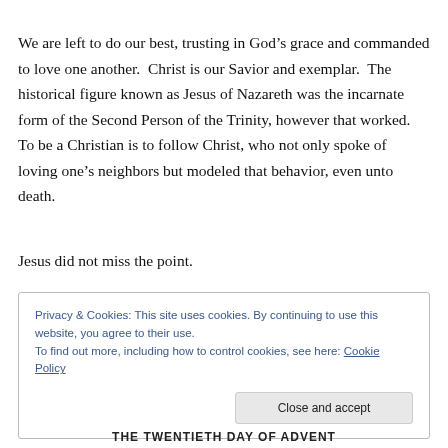We are left to do our best, trusting in God’s grace and commanded to love one another.  Christ is our Savior and exemplar.  The historical figure known as Jesus of Nazareth was the incarnate form of the Second Person of the Trinity, however that worked.  To be a Christian is to follow Christ, who not only spoke of loving one’s neighbors but modeled that behavior, even unto death.
Jesus did not miss the point.
Privacy & Cookies: This site uses cookies. By continuing to use this website, you agree to their use.
To find out more, including how to control cookies, see here: Cookie Policy
THE TWENTIETH DAY OF ADVENT